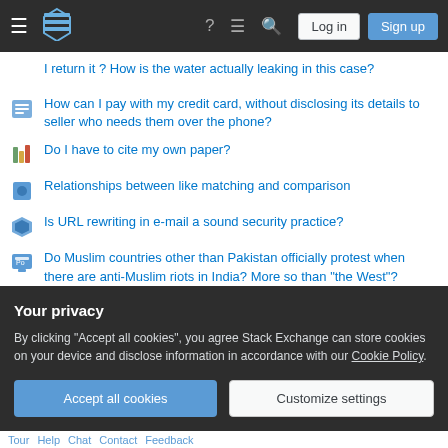Stack Exchange navigation bar with hamburger menu, logo, help, chat, search icons, Log in and Sign up buttons
I return it ? How is the water actually leaking in this case?
How can I pay with my credit card, without disclosing its details to seller who needs them over the phone?
Do I have to cite my own paper?
Relationships between like matching and comparison
Is URL rewriting in e-mail a sound security practice?
Do Muslim countries other than Pakistan officially protest when there are anti-Muslim riots in India? More so than "the West"?
Tikz - two arrows to node on the same height
LuaLaTeX - tabularx - Why does this table not fit on the previous page?
Your privacy
By clicking "Accept all cookies", you agree Stack Exchange can store cookies on your device and disclose information in accordance with our Cookie Policy.
Accept all cookies | Customize settings
Tour  Help  Chat  Contact  Feedback